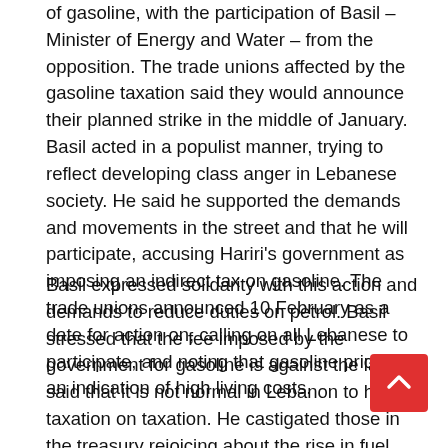of gasoline, with the participation of Basil – Minister of Energy and Water – from the opposition. The trade unions affected by the gasoline taxation said they would announce their planned strike in the middle of January. Basil acted in a populist manner, trying to reflect developing class anger in Lebanese society. He said he supported the demands and movements in the street and that he will participate, accusing Hariri's government as imposing an indirect tax on gasoline. The trade unions announced 10 February as a date for action on, calling on all Lebanese to participate, and noting that gasoline prices are an indication of high living costs.
Basil expressed solidarity with this action and demands to reduce duties on petrol. Basil stressed that the fee imposed by the government for gasoline is against the law. He said that it is not normal in Lebanon to have taxation on taxation. He castigated those in the treasury rejoicing about the rise in fuel prices, to become billion of dollars annually. A few days issues began to revolve around the International Tribuna led to new sectarian tensions in the country. The political crisis